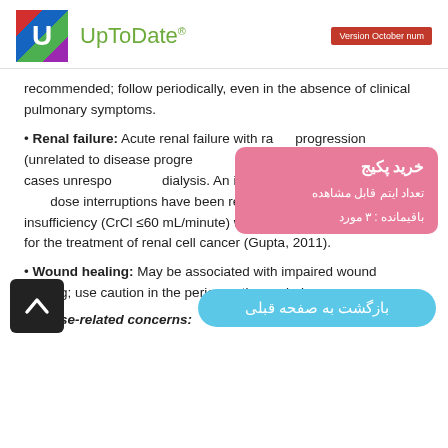UpToDate® — Version October num
recommended; follow periodically, even in the absence of clinical pulmonary symptoms.
• Renal failure: Acute renal failure with rapid progression (unrelated to disease progression) has been reported, including cases unresponsive to dialysis. An increased incidence of rash and dose interruptions have been reported in patients with renal insufficiency (CrCl ≤60 mL/minute) who received mTOR inhibitors for the treatment of renal cell cancer (Gupta, 2011).
• Wound healing: May be associated with impaired wound healing; use caution in the perioperative period.
Disease-related concerns: